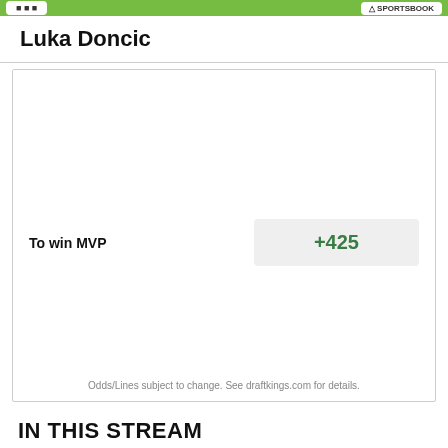Luka Doncic
|  |  |
| --- | --- |
| To win MVP | +425 |
Odds/Lines subject to change. See draftkings.com for details.
IN THIS STREAM
Gameday: Dallas Mavericks at Los Angeles Lakers
Mavericks outlast Lakers, 103-93
Can Mavs take advantage of poor Lakers defense?